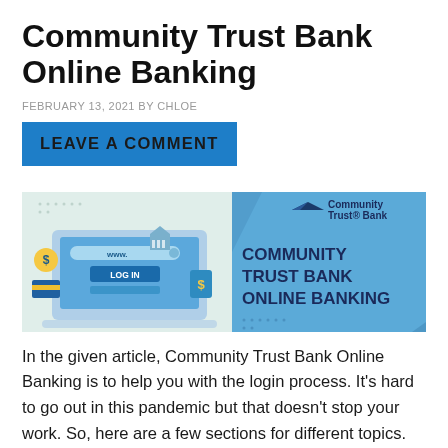Community Trust Bank Online Banking
FEBRUARY 13, 2021 BY CHLOE
LEAVE A COMMENT
[Figure (illustration): Community Trust Bank online banking banner showing a laptop with LOG IN button and www. address bar, money bag and credit card icons, and Community Trust Bank logo with text COMMUNITY TRUST BANK ONLINE BANKING on a light blue background.]
In the given article, Community Trust Bank Online Banking is to help you with the login process. It’s hard to go out in this pandemic but that doesn’t stop your work. So, here are a few sections for different topics. Through online banking, you will be able to